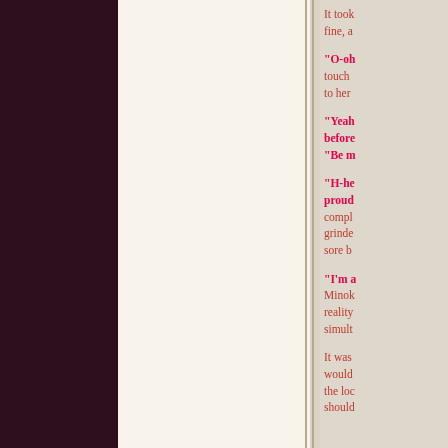It took fine, a
"O-oh touch to her
"Yeah before "Be m
"H-he proud compl grinde sore b
"I'm a Minok reality simult
It was would the loc should